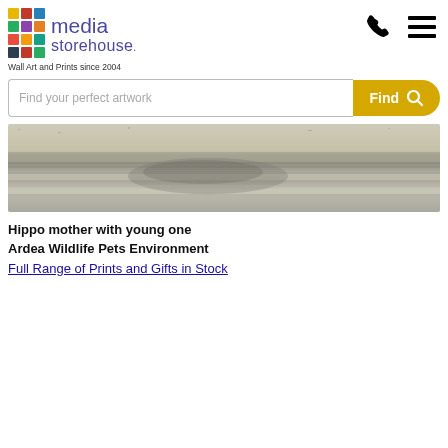[Figure (logo): Media Storehouse logo with colorful grid icon and purple text reading 'media storehouse.' Tagline: 'Wall Art and Prints since 2004']
[Figure (other): Phone icon (handset) in black]
[Figure (other): Hamburger menu icon (three horizontal lines) in black]
[Figure (photo): Photograph of hippo mother with young one, showing hippopotamus partially submerged in water with sandy/rocky terrain visible]
Hippo mother with young one
Ardea Wildlife Pets Environment
Full Range of Prints and Gifts in Stock